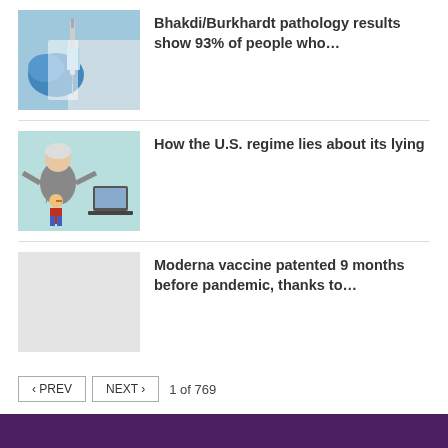[Figure (photo): Close-up of a syringe being held by a gloved hand (blue gloves, white coat background)]
Bhakdi/Burkhardt pathology results show 93% of people who…
[Figure (illustration): Cartoon illustration of an old man controlling a small Pinocchio-like figure with puppet strings, with a laptop/computer visible]
How the U.S. regime lies about its lying
[Figure (photo): Blank/placeholder grey image]
Moderna vaccine patented 9 months before pandemic, thanks to…
‹ PREV   NEXT ›   1 of 769
This website uses cookies to improve your experience. We'll assume you're ok with this, but you can opt-out if you wish.
Accept   Read More